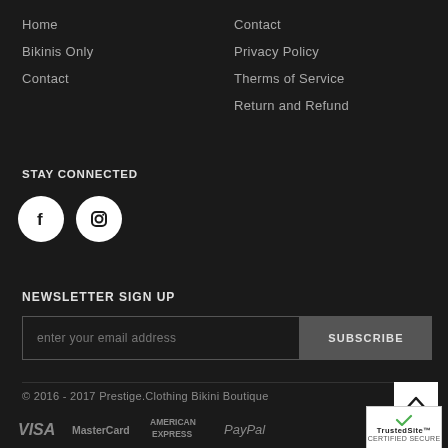Home
Bikinis Only
Contact
Contact
Privacy Policy
Therms of Service
Return and Refund
STAY CONNECTED
[Figure (illustration): Facebook and Instagram social media icon buttons (white circles on dark background)]
NEWSLETTER SIGN UP
enter your email address
SUBSCRIBE
© 2016 - 2017 Prestige.Clothing Bikini Boutique
[Figure (illustration): Payment method logos: VISA, MasterCard, American Express, PayPal, and TrustedSite Certified Secure badge]